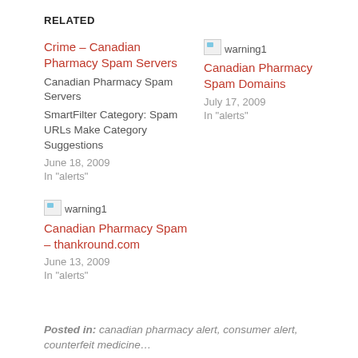RELATED
Crime – Canadian Pharmacy Spam Servers
Canadian Pharmacy Spam Servers
SmartFilter Category: Spam URLs Make Category Suggestions
June 18, 2009
In "alerts"
[Figure (other): Broken image placeholder labeled 'warning1']
Canadian Pharmacy Spam Domains
July 17, 2009
In "alerts"
[Figure (other): Broken image placeholder labeled 'warning1']
Canadian Pharmacy Spam – thankround.com
June 13, 2009
In "alerts"
Posted in: canadian pharmacy alert, consumer alert, counterfeit medicine…